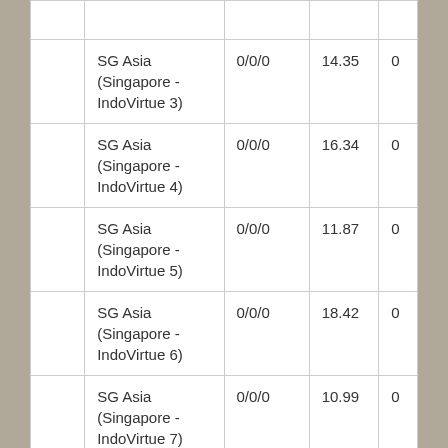|  | SG Asia (Singapore - IndoVirtue 3) | 0/0/0 | 14.35 | 0 |
|  | SG Asia (Singapore - IndoVirtue 4) | 0/0/0 | 16.34 | 0 |
|  | SG Asia (Singapore - IndoVirtue 5) | 0/0/0 | 11.87 | 0 |
|  | SG Asia (Singapore - IndoVirtue 6) | 0/0/0 | 18.42 | 0 |
|  | SG Asia (Singapore - IndoVirtue 7) | 0/0/0 | 10.99 | 0 |
|  | SG Asia (Singapore - | 0/0/0 | 17.29 | 0 |